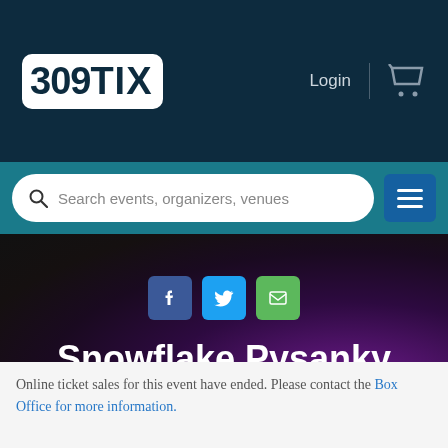309TIX — Login
[Figure (screenshot): Search bar with placeholder text 'Search events, organizers, venues' and hamburger menu button]
[Figure (infographic): Hero banner with social share buttons (Facebook, Twitter, Email) and event title 'Snowflake Pysanky Ornament' on dark purple gradient background]
Online ticket sales for this event have ended. Please contact the Box Office for more information.